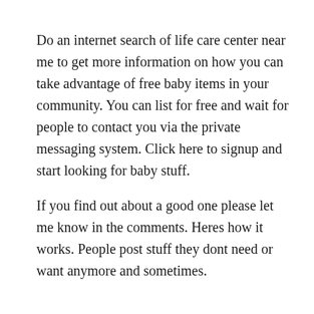Do an internet search of life care center near me to get more information on how you can take advantage of free baby items in your community. You can list for free and wait for people to contact you via the private messaging system. Click here to signup and start looking for baby stuff.
If you find out about a good one please let me know in the comments. Heres how it works. People post stuff they dont need or want anymore and sometimes.